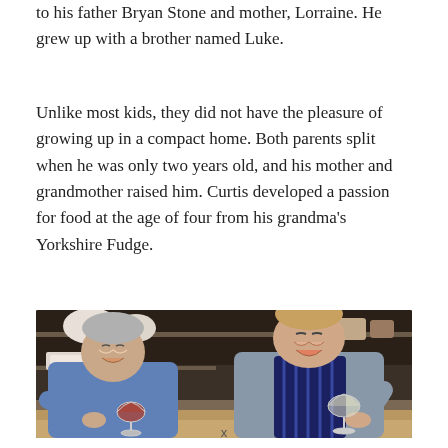to his father Bryan Stone and mother, Lorraine. He grew up with a brother named Luke.
Unlike most kids, they did not have the pleasure of growing up in a compact home. Both parents split when he was only two years old, and his mother and grandmother raised him. Curtis developed a passion for food at the age of four from his grandma's Yorkshire Fudge.
[Figure (photo): Two men smiling and holding wine glasses in a kitchen setting. An older man on the left wearing a blue shirt and a younger man on the right wearing a blue-grey top with a striped apron.]
x